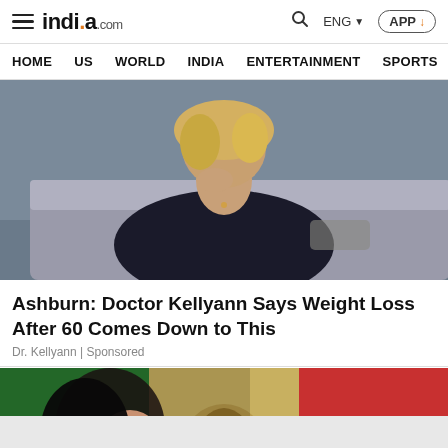india.com — HOME | US | WORLD | INDIA | ENTERTAINMENT | SPORTS | PHO
[Figure (photo): Woman with blonde hair wearing black top, seated on couch, resting chin on hand]
Ashburn: Doctor Kellyann Says Weight Loss After 60 Comes Down to This
Dr. Kellyann | Sponsored
[Figure (photo): Woman with dark hair in front of Mexican flag (green, gold eagle, red bands), with READ IN APP badge]
READ IN APP